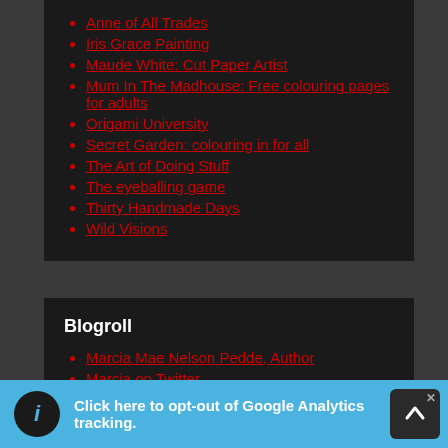Anne of All Trades
Iris Grace Painting
Maude White: Cut Paper Artist
Mum In The Madhouse: Free colouring pages for adults
Origami University
Secret Garden: colouring in for all
The Art of Doing Stuff
The eyeballing game
Thirty Handmade Days
Wild Visions
Blogroll
Marcia Mae Nelson Pedde, Author
Marcia on Twitter
Mike on Twitter
Click here to opt-out of Google Analytics tracking.